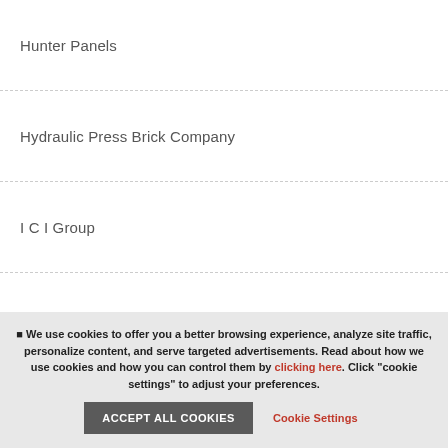Hunter Panels
Hydraulic Press Brick Company
I C I Group
ICA
IDI Distributors
We use cookies to offer you a better browsing experience, analyze site traffic, personalize content, and serve targeted advertisements. Read about how we use cookies and how you can control them by clicking here. Click "cookie settings" to adjust your preferences.
ACCEPT ALL COOKIES
Cookie Settings